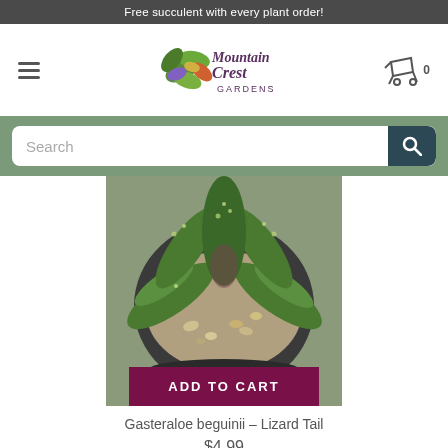Free succulent with every plant order!
[Figure (logo): Mountain Crest Gardens logo with colorful succulent illustration and script/serif text]
[Figure (screenshot): Search bar with placeholder text 'Search' and a dark teal search button with magnifying glass icon]
[Figure (photo): Top-down photo of a Gasteraloe beguinii (Lizard Tail) succulent in a black pot with gravel, showing green spotted leaves, with an 'ADD TO CART' button overlay]
Gasteraloe beguinii – Lizard Tail
$4.99